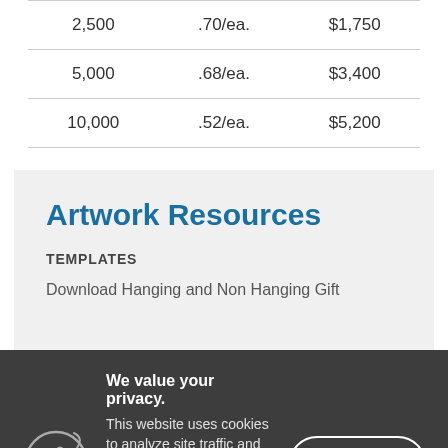| Quantity | Price | Total |
| --- | --- | --- |
| 2,500 | .70/ea. | $1,750 |
| 5,000 | .68/ea. | $3,400 |
| 10,000 | .52/ea. | $5,200 |
Artwork Resources
TEMPLATES
Download Hanging and Non Hanging Gift
We value your privacy. This website uses cookies to analyze site traffic and enhance your browsing experience. By clicking "Accept" you consent to our use of cookies. Learn more »